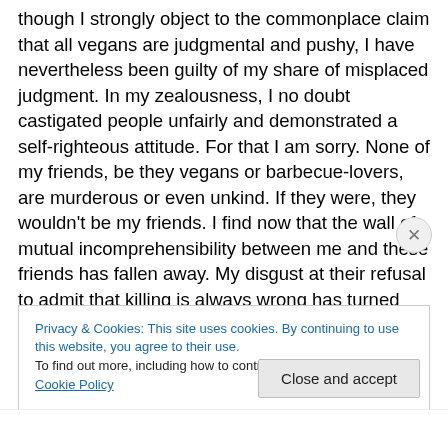though I strongly object to the commonplace claim that all vegans are judgmental and pushy, I have nevertheless been guilty of my share of misplaced judgment. In my zealousness, I no doubt castigated people unfairly and demonstrated a self-righteous attitude. For that I am sorry. None of my friends, be they vegans or barbecue-lovers, are murderous or even unkind. If they were, they wouldn't be my friends. I find now that the wall of mutual incomprehensibility between me and these friends has fallen away. My disgust at their refusal to admit that killing is always wrong has turned into a humbled shame at my
Privacy & Cookies: This site uses cookies. By continuing to use this website, you agree to their use.
To find out more, including how to control cookies, see here: Cookie Policy
Close and accept